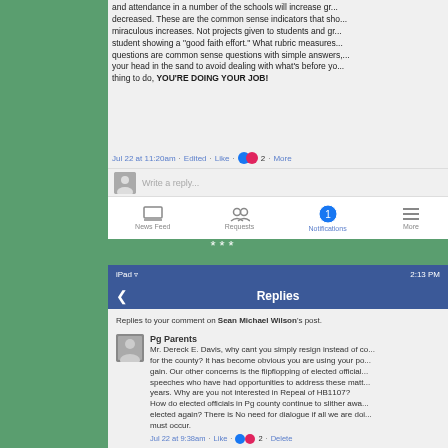[Figure (screenshot): Screenshot of Facebook comment section showing text: 'and attendance in a number of the schools will increase gr... decreased. These are the common sense indicators that sho... miraculous increases. Not projects given to students and gr... student showing a "good faith effort." What rubric measures... questions are common sense questions with simple answers,... your head in the sand to avoid dealing with what's before yo... thing to do, YOU'RE DOING YOUR JOB!' with timestamp Jul 22 at 11:20am · Edited · Like · 2 · More. Below: Write a reply... input. Bottom nav: News Feed, Requests, Notifications (with badge 1), More.]
***
[Figure (screenshot): Screenshot of Facebook Replies page (iPad, 2:13 PM). Shows 'Replies' header. 'Replies to your comment on Sean Michael Wilson's post.' Comment from Pg Parents: 'Mr. Dereck E. Davis, why cant you simply resign instead of co... for the county? It has become obvious you are using your po... gain. Our other concerns is the flipflopping of elected official... speeches who have had opportunities to address these matt... years. Why are you not interested in Repeal of HB1107? How do elected officials in Pg county continue to slither awa... elected again? There is No need for dialogue if all we are doi... must occur.' Jul 22 at 9:38am · Like · 2 · Delete. Then Nivek M. Johnson: 'Why would he resign? What benefit is that helping? He resig...' Jul 22 at 10:02am · Like · 2 · More]